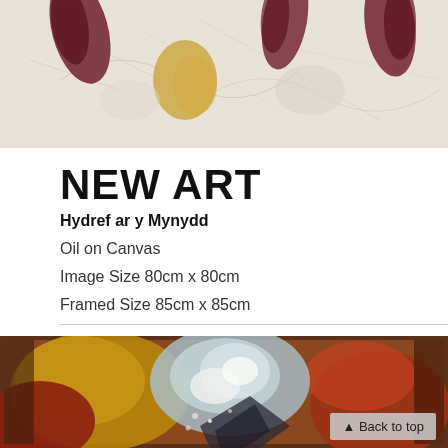[Figure (photo): Abstract oil painting with cream/white background, burgundy/dark red brushstrokes and yellowish organic shapes — top portion of a painting called Hydref ar y Mynydd]
NEW ART
Hydref ar y Mynydd
Oil on Canvas
Image Size 80cm x 80cm
Framed Size 85cm x 85cm
[Figure (photo): Abstract oil painting with warm earth tones — rusty reds, golden yellows, light blue and white central area, dark shapes — lower portion of the artwork with a Back to top button overlay]